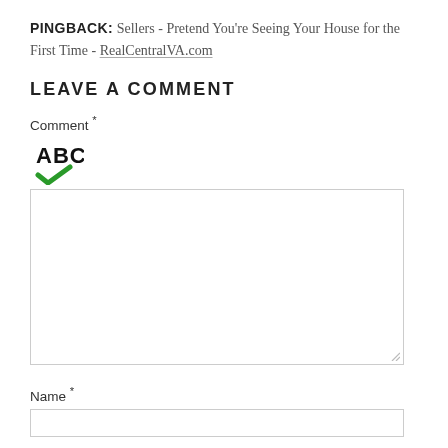PINGBACK: Sellers - Pretend You're Seeing Your House for the First Time - RealCentralVA.com
LEAVE A COMMENT
Comment *
[Figure (illustration): Spell-check icon: bold letters ABC with a green checkmark below]
[Figure (other): Large comment text area input box with resize handle]
Name *
[Figure (other): Name text input field]